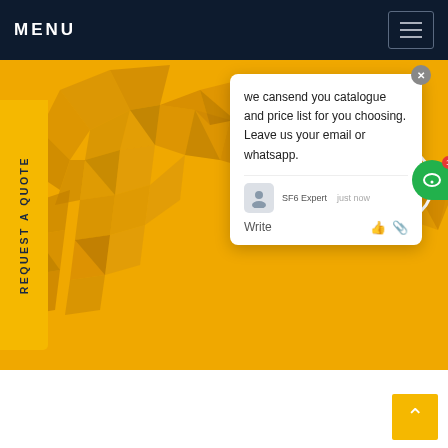MENU
[Figure (screenshot): Website screenshot showing a yellow polygon world map hero background with a chat popup overlay reading 'we can send you catalogue and price list for you choosing. Leave us your email or whatsapp.' with SF6 Expert avatar, a green chat bubble icon with notification badge showing 1, and a vertical yellow 'REQUEST A QUOTE' sidebar band on the left]
we cansend you catalogue and price list for you choosing. Leave us your email or whatsapp.
SF6 Expert   just now
Write